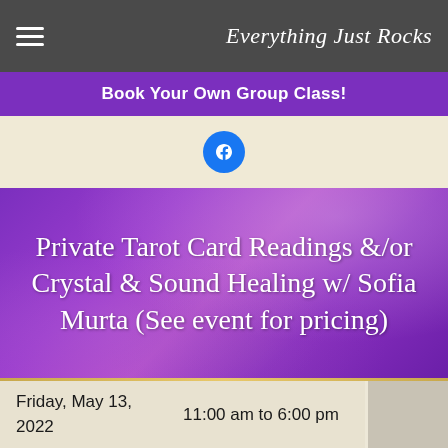Everything Just Rocks
Book Your Own Group Class!
[Figure (logo): Facebook logo icon circle]
Private Tarot Card Readings &/or Crystal & Sound Healing w/ Sofia Murta (See event for pricing)
Friday, May 13, 2022	11:00 am to 6:00 pm